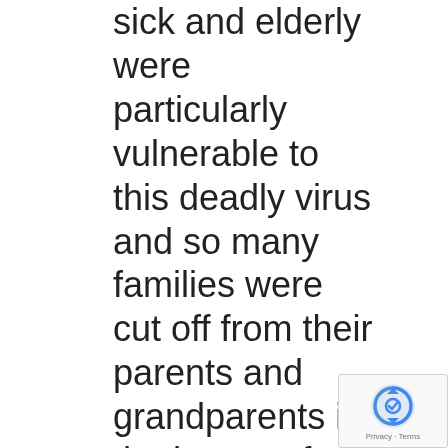sick and elderly were particularly vulnerable to this deadly virus and so many families were cut off from their parents and grandparents in the hopes of protecting them from exposure
[Figure (other): Google reCAPTCHA badge with recaptcha logo and 'Privacy - Terms' text in bottom-right corner]